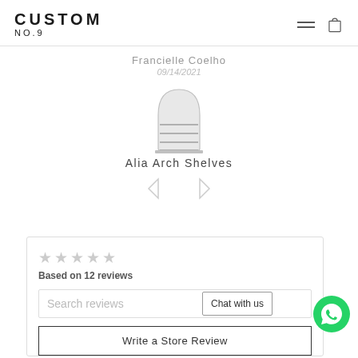CUSTOM NO.9
Francielle Coelho
09/14/2021
[Figure (illustration): Small illustration of arch-shaped shelving unit (Alia Arch Shelves product image), grey tones, shows multiple horizontal shelves within an arched silhouette]
Alia Arch Shelves
< >
★★★★★
Based on 12 reviews
Search reviews
Chat with us
Write a Store Review